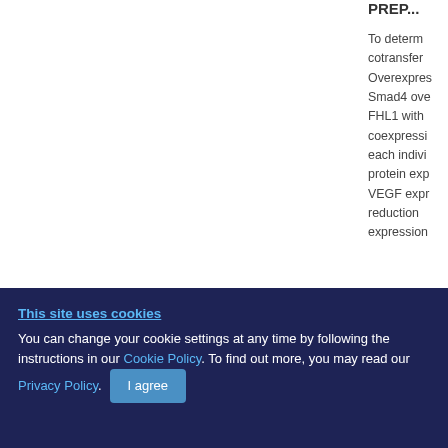To determine cotransfer Overexpression Smad4 over FHL1 with coexpression each individual protein express VEGF expression reduction expression
[Figure (other): Gray rectangle, partial image/figure visible at right edge bottom]
This site uses cookies
You can change your cookie settings at any time by following the instructions in our Cookie Policy. To find out more, you may read our Privacy Policy.